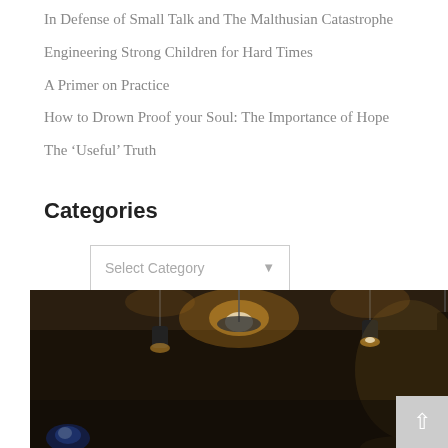In Defense of Small Talk and The Malthusian Catastrophe
Engineering Strong Children for Hard Times
A Primer on Practice
How to Drown Proof your Soul: The Importance of Hope
The ‘Useful’ Truth
Categories
[Figure (screenshot): Dropdown selector widget with label 'Select Category' and a dropdown arrow]
[Figure (photo): Dark atmospheric photo of hanging pendant lights in a dim room, with a blue flame visible at lower left and a person's hand visible at lower right. A white back-to-top button with an upward arrow is overlaid in the lower right corner.]